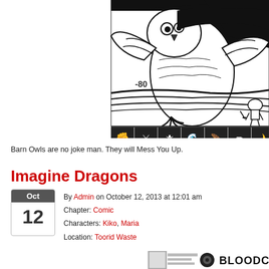[Figure (illustration): Black and white comic/manga illustration showing a large barn owl attacking or fighting, with a smaller character in the lower right. Below the main image is a row of small black square icons with white symbols (fist, lightning/swords, sword, wave/flame, wing, pencil/arrow, and partial icon). The number -80 appears in the illustration.]
Barn Owls are no joke man. They will Mess You Up.
Imagine Dragons
By Admin on October 12, 2013 at 12:01 am
Chapter: Comic
Characters: Kiko, Maria
Location: Toorid Waste
[Figure (logo): Bottom banner with small character icon, UI elements, and BloodCut logo text in stylized font]